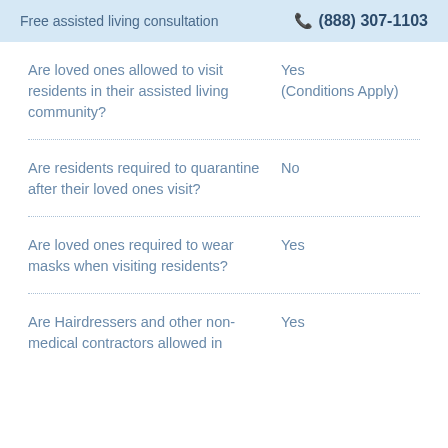Free assisted living consultation  ☎ (888) 307-1103
Are loved ones allowed to visit residents in their assisted living community?
Yes (Conditions Apply)
Are residents required to quarantine after their loved ones visit?
No
Are loved ones required to wear masks when visiting residents?
Yes
Are Hairdressers and other non-medical contractors allowed in
Yes